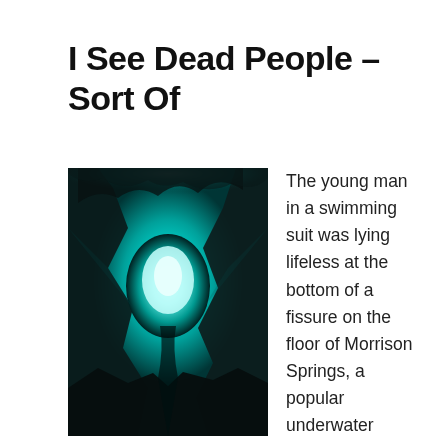I See Dead People – Sort Of
[Figure (photo): Underwater cave or fissure photograph showing glowing teal/cyan light emanating from a submerged opening between dark rocky walls, viewed from below the water surface.]
The young man in a swimming suit was lying lifeless at the bottom of a fissure on the floor of Morrison Springs, a popular underwater